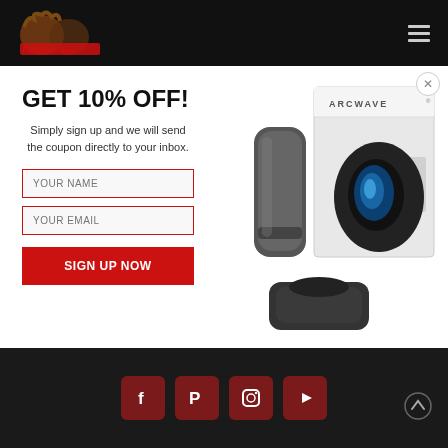Peekaboo You
GET 10% OFF!
Simply sign up and we will send the coupon directly to your inbox.
[Figure (photo): Arcwave product lineup including a cylindrical device, a curved device, a charging cradle, and a white product box labeled ARCWAVE]
Social media icons: Facebook, Pinterest, Instagram, YouTube